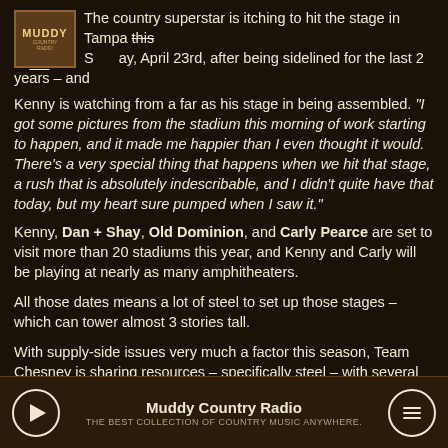The country superstar is itching to hit the stage in Tampa this Saturday, April 23rd, after being sidelined for the last 2 years – and Kenny is watching from a far as his stage in being assembled. "I got some pictures from the stadium this morning of work starting to happen, and it made me happier than I even thought it would. There's a very special thing that happens when we hit that stage, a rush that is absolutely indescribable, and I didn't quite have that today, but my heart sure pumped when I saw it."
Kenny, Dan + Shay, Old Dominion, and Carly Pearce are set to visit more than 20 stadiums this year, and Kenny and Carly will be playing at nearly as many amphitheaters.
All those dates means a lot of steel to set up those stages – which can tower almost 3 stories tall.
With supply-side issues very much a factor this season, Team Chesney is sharing resources – specifically steel – with several other major tours out on the road this summer. By understanding what it takes to put up a massive stadium-sized stage, Chesney's working with several other tours in place to share metal.
Muddy Country Radio — THE BEST COLLECTION OF COUNTRY MUSIC ANYWHERE.
Kenny says he's been away from his fans for so long, the more we can do to bring music to the people